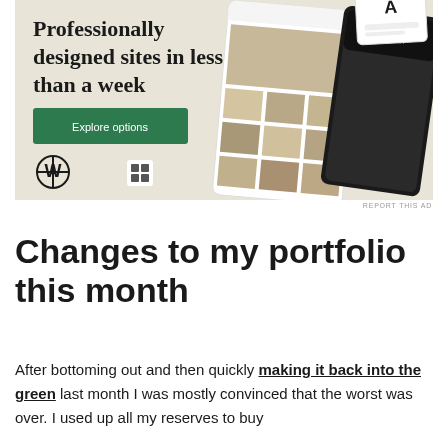[Figure (illustration): WordPress advertisement banner with beige background. Text reads 'Professionally designed sites in less than a week' with a green 'Explore options' button. WordPress logo at bottom left. Mock website screenshots shown on the right side of the banner.]
REPORT THIS AD
Changes to my portfolio this month
After bottoming out and then quickly making it back into the green last month I was mostly convinced that the worst was over. I used up all my reserves to buy